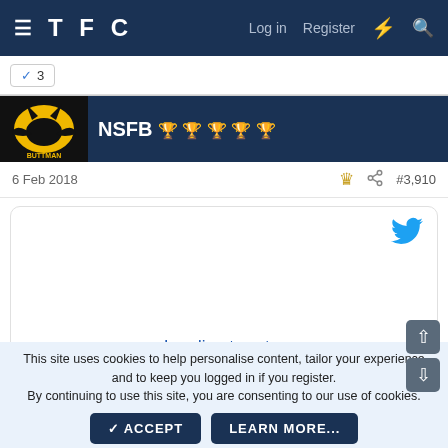TFC — Log in  Register
✓ 3
NSFB 🏆🏆🏆🏆🏆
6 Feb 2018  #3,910
[Figure (screenshot): Embedded tweet loading placeholder with Twitter bird icon and 'Loading tweet...' link]
This site uses cookies to help personalise content, tailor your experience and to keep you logged in if you register.
By continuing to use this site, you are consenting to our use of cookies.
✓ ACCEPT   LEARN MORE...